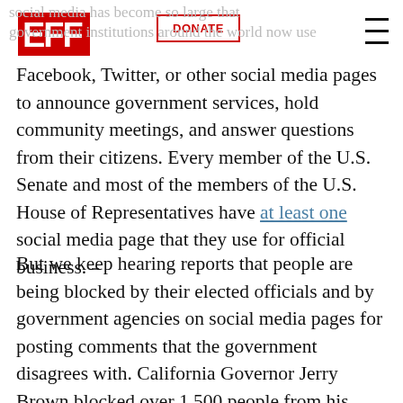EFF | DONATE
social media has become so large that government institutions around the world now use Facebook, Twitter, or other social media pages to announce government services, hold community meetings, and answer questions from their citizens. Every member of the U.S. Senate and most of the members of the U.S. House of Representatives have at least one social media page that they use for official business.
But we keep hearing reports that people are being blocked by their elected officials and by government agencies on social media pages for posting comments that the government disagrees with. California Governor Jerry Brown blocked over 1,500 people from his Twitter and Facebook accounts, until a records request from the First Amendment Coalition convinced him to change the